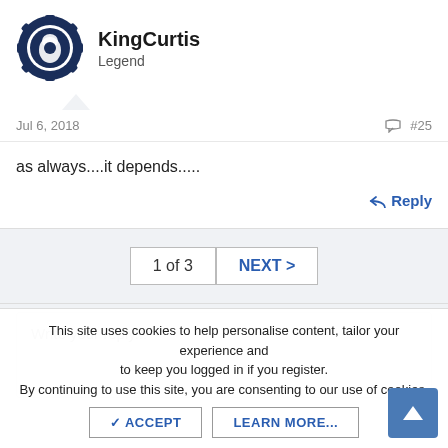[Figure (logo): KingCurtis user avatar — dark navy gear/cog icon with Penn State Nittany Lion logo in center]
KingCurtis
Legend
Jul 6, 2018
#25
as always....it depends.....
Reply
1 of 3
NEXT >
Write your reply...
This site uses cookies to help personalise content, tailor your experience and to keep you logged in if you register.
By continuing to use this site, you are consenting to our use of cookies.
✓ ACCEPT
LEARN MORE...